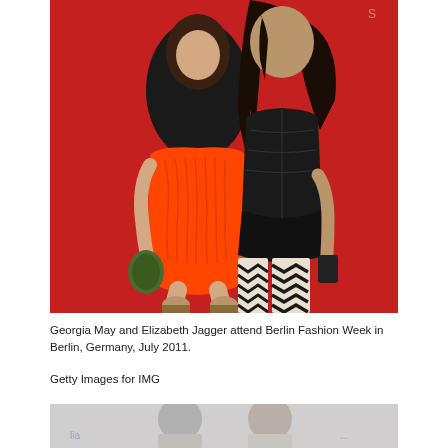[Figure (photo): Two women posing together against a red background. Left woman wears an orange ruched mini dress and holds a green clutch. Right woman wears a black leather corset top with a black mini skirt and bold black-and-white chevron/zigzag patterned tights, holding a small dark clutch.]
Georgia May and Elizabeth Jagger attend Berlin Fashion Week in Berlin, Germany, July 2011.
Getty Images for IMG
[Figure (photo): Partial view of a second photo showing people at what appears to be an event, cropped at the bottom of the page.]